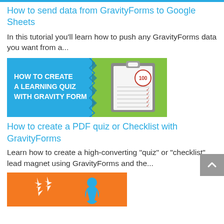How to send data from GravityForms to Google Sheets
In this tutorial you'll learn how to push any GravityForms data you want from a...
[Figure (illustration): Promotional banner: blue and green background with text 'HOW TO CREATE A LEARNING QUIZ WITH GRAVITY FORM' and a clipboard graphic showing a score of 100 with red checkmarks.]
How to create a PDF quiz or Checklist with GravityForms
Learn how to create a high-converting "quiz" or "checklist" lead magnet using GravityForms and the...
[Figure (illustration): Partially visible orange and white promotional banner with a logo/icon visible at the bottom of the page.]